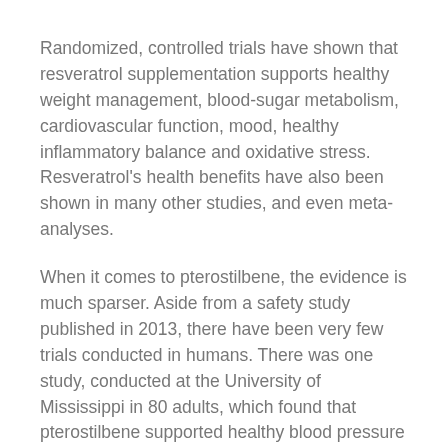Randomized, controlled trials have shown that resveratrol supplementation supports healthy weight management, blood-sugar metabolism, cardiovascular function, mood, healthy inflammatory balance and oxidative stress. Resveratrol's health benefits have also been shown in many other studies, and even meta-analyses.
When it comes to pterostilbene, the evidence is much sparser. Aside from a safety study published in 2013, there have been very few trials conducted in humans. There was one study, conducted at the University of Mississippi in 80 adults, which found that pterostilbene supported healthy blood pressure and lipid metabolism.
The vast majority of research on pterostilbene is in the experimental and preclinical phase. Researchers have found that pterostilbene supports many of the same cellular pathways as resveratrol—including supporting antioxidant